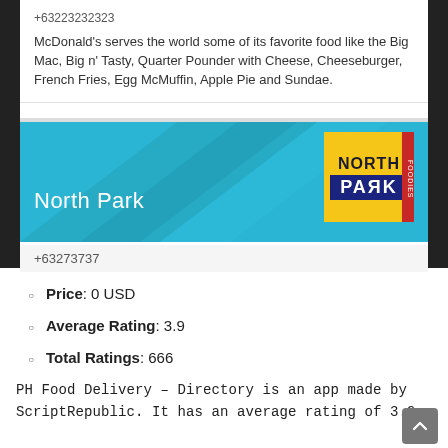[Figure (screenshot): Mobile app screenshot showing McDonald's description and North Park restaurant card with phone number +63273737]
Price: 0 USD
Average Rating: 3.9
Total Ratings: 666
PH Food Delivery – Directory is an app made by ScriptRepublic. It has an average rating of 3.9